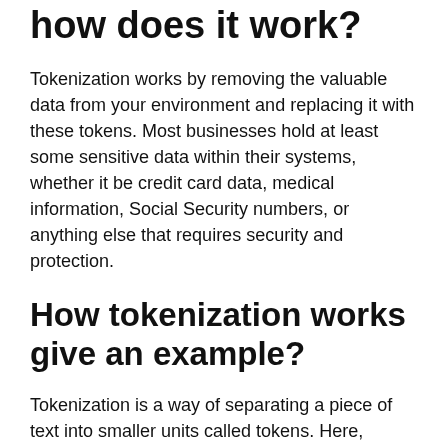how does it work?
Tokenization works by removing the valuable data from your environment and replacing it with these tokens. Most businesses hold at least some sensitive data within their systems, whether it be credit card data, medical information, Social Security numbers, or anything else that requires security and protection.
How tokenization works give an example?
Tokenization is a way of separating a piece of text into smaller units called tokens. Here, tokens can be either words, characters, or subwords. ... Assuming space as a delimiter,